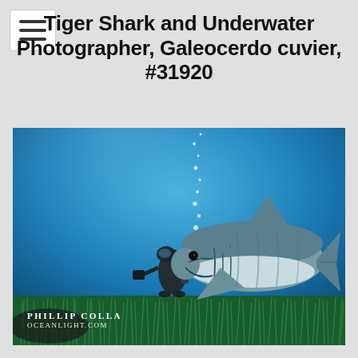Tiger Shark and Underwater Photographer, Galeocerdo cuvier, #31920
[Figure (photo): Underwater photograph by Phillip Colla (OceanLight.com) showing a tiger shark (Galeocerdo cuvier) swimming close to the camera above a seagrass bed, with a scuba diver / underwater photographer holding camera equipment visible in the background. Air bubbles rise from the diver. The water is blue and clear.]